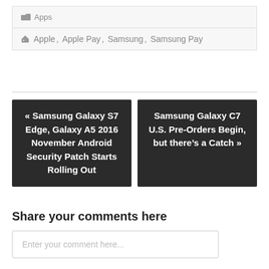📁 Apps
🏷 Apple, Apple Pay, Samsung, Samsung Pay
« Samsung Galaxy S7 Edge, Galaxy A5 2016 November Android Security Patch Starts Rolling Out
Samsung Galaxy C7 U.S. Pre-Orders Begin, but there's a Catch »
Share your comments here
Enter your comment here...